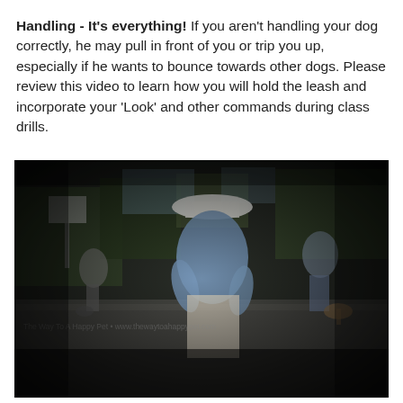Handling - It's everything! If you aren't handling your dog correctly, he may pull in front of you or trip you up, especially if he wants to bounce towards other dogs. Please review this video to learn how you will hold the leash and incorporate your 'Look' and other commands during class drills.
[Figure (photo): Outdoor video still showing people walking dogs on a street or parking lot. Central figure is a person in a light blue shirt and white hat, bending forward. Other dog handlers are visible in the background. Scene is dimly lit with dark vignetting around the edges. Watermark text is faintly visible across the lower portion of the image.]